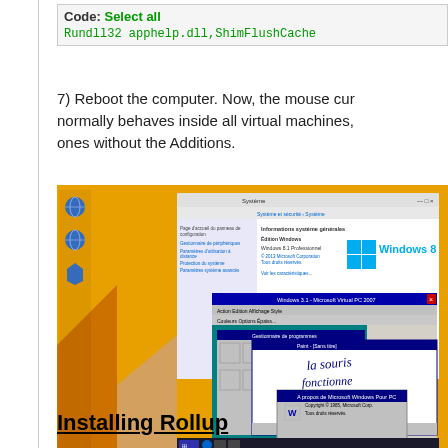Code: Select all
Rundll32 apphelp.dll,ShimFlushCache
7) Reboot the computer. Now, the mouse cursor normally behaves inside all virtual machines, ones without the Additions.
[Figure (screenshot): Screenshot of Windows 8.1 desktop showing a virtual machine running Windows 3.1 inside VirtualBox, with a handwritten note in Paint saying 'la souris fonctionne parfaitement!']
Installing Rollup